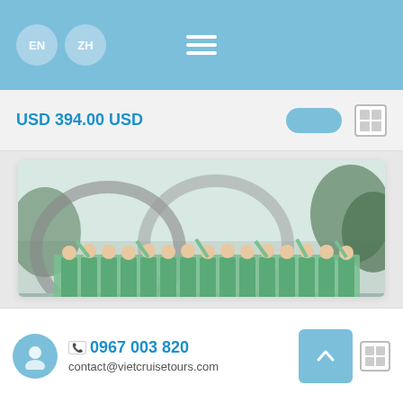EN  ZH  ☰
USD 394.00 USD
[Figure (photo): Group photo of cruise crew members in green uniforms waving, standing in front of a curved boat structure with palm trees in background]
MB02: MANGO CRUISE 2 DAYS – BENTRE –…
📞 0967 003 820  contact@vietcruisetours.com